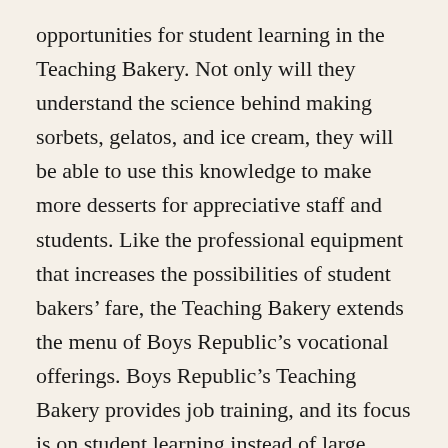opportunities for student learning in the Teaching Bakery. Not only will they understand the science behind making sorbets, gelatos, and ice cream, they will be able to use this knowledge to make more desserts for appreciative staff and students. Like the professional equipment that increases the possibilities of student bakers' fare, the Teaching Bakery extends the menu of Boys Republic's vocational offerings. Boys Republic's Teaching Bakery provides job training, and its focus is on student learning instead of large production.
Boys Republic is a private, nonprofit, nonsectarian school and treatment community for disadvantaged teenagers. Since its founding in 1907, it has guided more than 30,000 at-risk teenage boys and girls toward productive, fulfilling lives. The Teaching Bakery, with its commercial equipment like the new ice cream maker, is the latest program that provides students with job skills, vocational experience and confidence they need to be